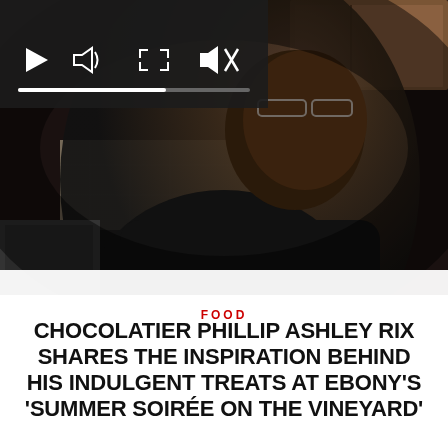[Figure (photo): Dark photo of a Black man in a black jacket leaning forward in a kitchen setting, with dark background and kitchen cabinets visible. A video player overlay is shown in the upper left corner with play, volume, fullscreen, and mute controls, and a progress bar.]
FOOD
CHOCOLATIER PHILLIP ASHLEY RIX SHARES THE INSPIRATION BEHIND HIS INDULGENT TREATS AT EBONY'S 'SUMMER SOIRÉE ON THE VINEYARD'